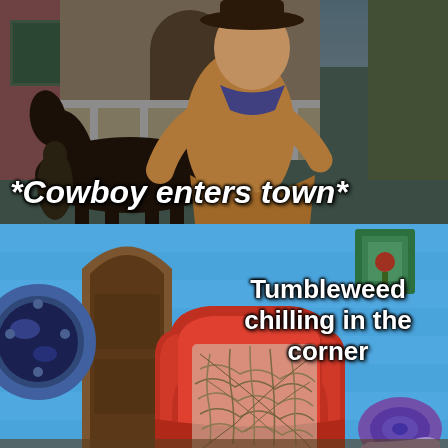[Figure (photo): Top panel: video game screenshot (Red Dead Redemption style) of a cowboy on horseback entering a western town. Dark moody lighting, buildings in background including pink building on left and green on right. White bold italic text overlay reads '*Cowboy enters town*']
*Cowboy enters town*
[Figure (illustration): Bottom panel: SpongeBob SquarePants interior scene with blue plank walls, round porthole window on left, arched wooden door, red armchair in center with a tumbleweed sitting on it, green picture frame on wall, purple snail shell in bottom right corner.]
Tumbleweed chilling in the corner